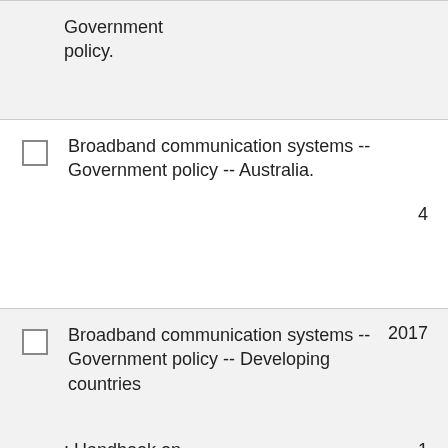Government policy.
Broadband communication systems -- Government policy -- Australia.
Broadband communication systems -- Government policy -- Developing countries